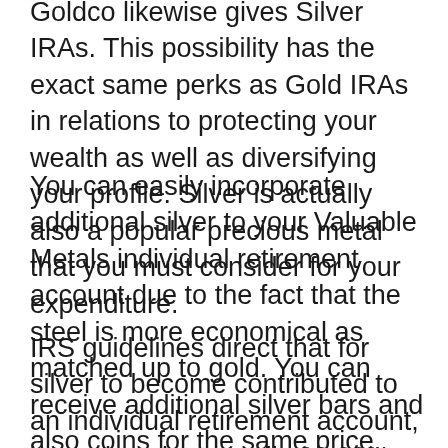Goldco likewise gives Silver IRAs. This possibility has the exact same perks as Gold IRAs in relations to protecting your wealth as well as diversifying your profile. Silver is actually also a popular precious metal that you must consider for your expenditure.
You can easily incorporate additional silver to your Valuable Metals individual retirement account due to the fact that the steel is more economical as matched up to gold. You can receive additional silver bars and also coins for the same price.
IRS guidelines direct that for silver to become contributed to an individual retirement account, it needs to be actually 99.99% pure. If you are trying to incorporate